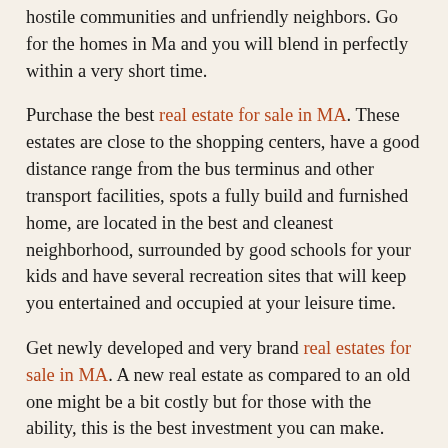hostile communities and unfriendly neighbors. Go for the homes in Ma and you will blend in perfectly within a very short time.
Purchase the best real estate for sale in MA. These estates are close to the shopping centers, have a good distance range from the bus terminus and other transport facilities, spots a fully build and furnished home, are located in the best and cleanest neighborhood, surrounded by good schools for your kids and have several recreation sites that will keep you entertained and occupied at your leisure time.
Get newly developed and very brand real estates for sale in MA. A new real estate as compared to an old one might be a bit costly but for those with the ability, this is the best investment you can make. Furthermore, you can expect these real estates to increase in value within the shortest time span. This will make your life a lot easier since with growth in value of your asset the more better your investment and land profits grow. Purchase these real estates for rental purposes or for a home or even for both.
Please contact us at Tazar If you looking for a homes for sale in Massachusetts or if your looking for a sales jobs in Boston